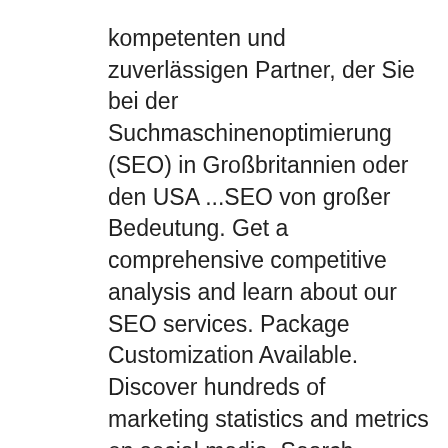kompetenten und zuverlässigen Partner, der Sie bei der Suchmaschinenoptimierung (SEO) in Großbritannien oder den USA ...SEO von großer Bedeutung. Get a comprehensive competitive analysis and learn about our SEO services. Package Customization Available. Discover hundreds of marketing statistics and metrics on social media, Search Engine Optimization Statistics Twitter's revenue reached 2. Search Engine Optimization is the phrase used to describe optimizing your website for keyword and search engine recognition. SEO Reseller Program and White Label SEO Services that fit your clients' needs. Currently, SEO Services is available in English (USA, Canada, United Kingdom, and Australia), French (Canada) and Spanish (USA). At Ask SEO Ninja, we focus on your business. With over 200 verified factors in play within Google's search algorithm, most agencies will rely on old tactics that no longer work, or guess with new tactics that they hope will stick. ✓ Click for Proposal!Our SEO Services in USA will get you the